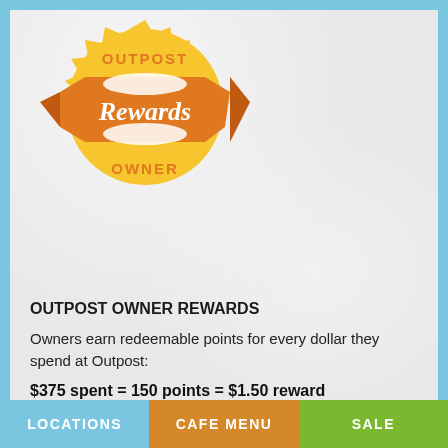[Figure (logo): Outpost Owner Rewards badge logo: a yellow sunburst/seal shape with an orange banner across the middle reading 'Rewards' in white script, and circular text reading 'OUTPOST' at top and 'OWNER' at bottom in orange on yellow background]
OUTPOST OWNER REWARDS
Owners earn redeemable points for every dollar they spend at Outpost:
$375 spent = 150 points = $1.50 reward
For owners 62 or better:
LOCATIONS    CAFE MENU    SALE